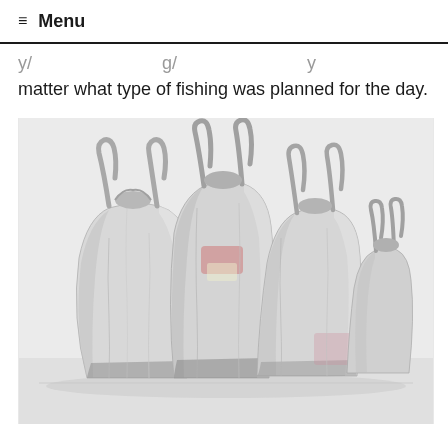≡ Menu
...matter what type of fishing was planned for the day.
[Figure (photo): Multiple white plastic grocery/shopping bags filled with items, photographed against a white/light gray background. The bags are tied at the tops and vary in size, with visible contents through the translucent plastic.]